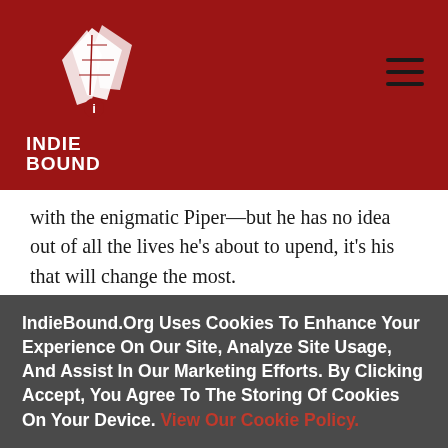IndieBound logo and navigation header
with the enigmatic Piper—but he has no idea out of all the lives he's about to upend, it's his that will change the most.
USA Today bestselling author Colleen Oakley delivers an unforgettable love story about an
IndieBound.Org Uses Cookies To Enhance Your Experience On Our Site, Analyze Site Usage, And Assist In Our Marketing Efforts. By Clicking Accept, You Agree To The Storing Of Cookies On Your Device. View Our Cookie Policy.
Give me more info
Accept all Cookies